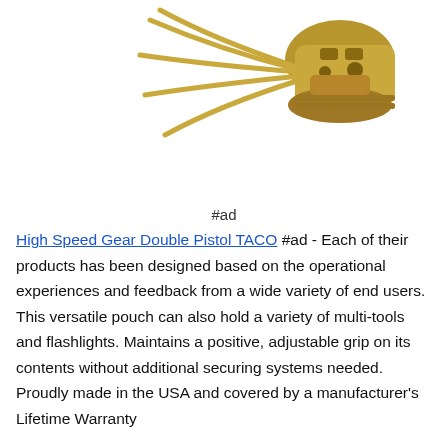[Figure (photo): Gold/tan colored High Speed Gear Double Pistol TACO pouch shown from above, with bungee retention cords fanned out]
#ad
High Speed Gear Double Pistol TACO #ad - Each of their products has been designed based on the operational experiences and feedback from a wide variety of end users. This versatile pouch can also hold a variety of multi-tools and flashlights. Maintains a positive, adjustable grip on its contents without additional securing systems needed. Proudly made in the USA and covered by a manufacturer's Lifetime Warranty